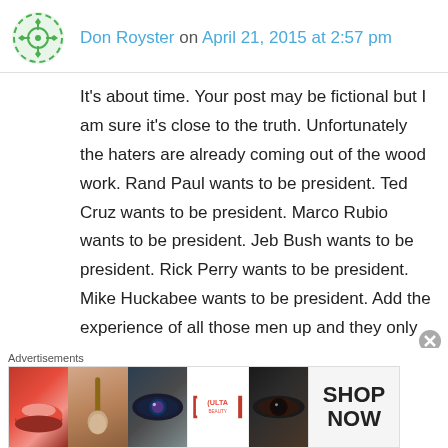Don Royster on April 21, 2015 at 2:57 pm
It's about time. Your post may be fictional but I am sure it's close to the truth. Unfortunately the haters are already coming out of the wood work. Rand Paul wants to be president. Ted Cruz wants to be president. Marco Rubio wants to be president. Jeb Bush wants to be president. Rick Perry wants to be president. Mike Huckabee wants to be president. Add the experience of all those men up and they only fill half the glass of Hillary's experience. And yet, there will be those who say she's not qualified. Why? She lacks a
Advertisements
[Figure (photo): Ulta Beauty advertisement banner with makeup product images and 'SHOP NOW' text]